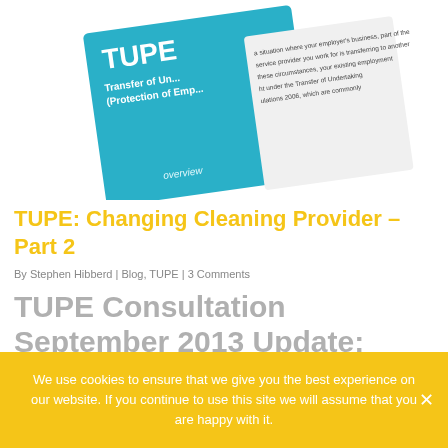[Figure (photo): A photograph of a TUPE (Transfer of Undertakings Protection of Employment) booklet/card, partially visible, with teal/blue cover showing the acronym TUPE and the words Transfer of Undertakings (Protection of Employment), angled on a white background.]
TUPE: Changing Cleaning Provider – Part 2
By Stephen Hibberd | Blog, TUPE | 3 Comments
TUPE Consultation September 2013 Update:
As mentioned in our previous posting, back in
We use cookies to ensure that we give you the best experience on our website. If you continue to use this site we will assume that you are happy with it.